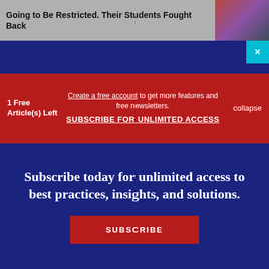Going to Be Restricted. Their Students Fought Back
1 Free Article(s) Left
Create a free account to get more features and free newsletters.
SUBSCRIBE FOR UNLIMITED ACCESS
collapse
Subscribe today for unlimited access to best practices, insights, and solutions.
SUBSCRIBE